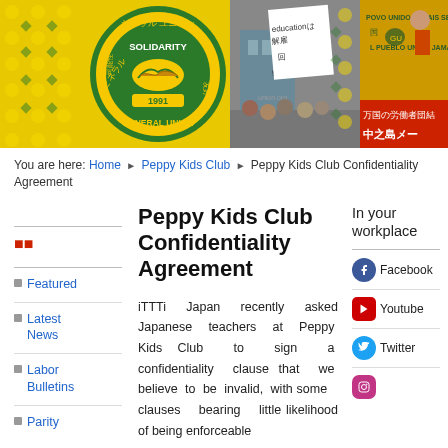[Figure (photo): General Union header banner with logo (yellow/green solidarity handshake logo with 1991 date), protest photos showing yellow banners reading 'POVO UNIDO JAMAIS SERA' and 'EL PUEBLO UNIDO JAMAS SERA VEN', and Japanese text on red banner reading 中之島メー, on yellow polka-dot background]
You are here: Home ▶ Peppy Kids Club ▶ Peppy Kids Club Confidentiality Agreement
Peppy Kids Club Confidentiality Agreement
In your workplace
Featured
Latest News
Labor Bulletins
Parity
Facebook
Youtube
Twitter
iTTTi Japan recently asked Japanese teachers at Peppy Kids Club to sign a confidentiality clause that we believe to be invalid, with some clauses bearing little likelihood of being enforceable